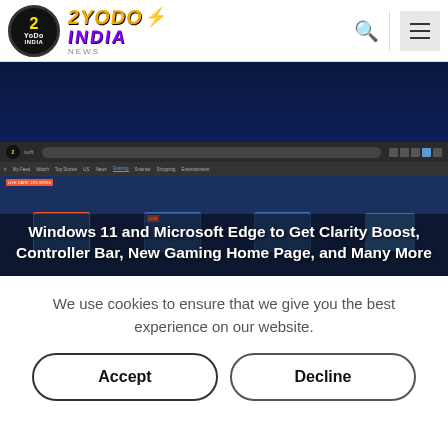[Figure (logo): 2YoDo India News logo with circular emblem and stylized text]
[Figure (screenshot): Screenshot of Microsoft Edge browser showing gaming homepage with Windows 11 gaming features]
Windows 11 and Microsoft Edge to Get Clarity Boost, Controller Bar, New Gaming Home Page, and Many More
We use cookies to ensure that we give you the best experience on our website.
Accept
Decline